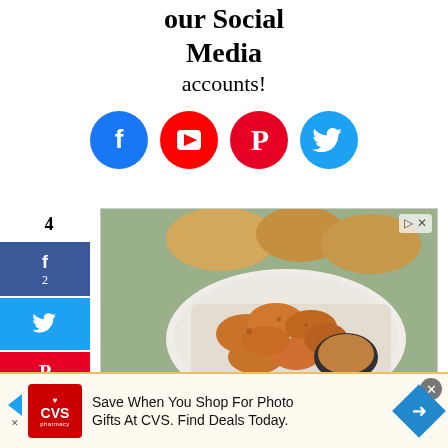our Social Media accounts!
[Figure (infographic): Four social media icons in circles: Facebook (blue), YouTube (red), Pinterest (red), Twitter (light blue)]
4 SHARES
[Figure (infographic): Share sidebar buttons: Facebook (f, 2), Twitter (bird icon), Pinterest (P, 2)]
[Figure (photo): Advertisement showing fried chicken nuggets on a plate with dipping sauce and bread rolls in background. Brand: Podemos Entregar]
[Figure (infographic): Bottom banner advertisement: CVS Pharmacy - Save When You Shop For Photo Gifts At CVS. Find Deals Today.]